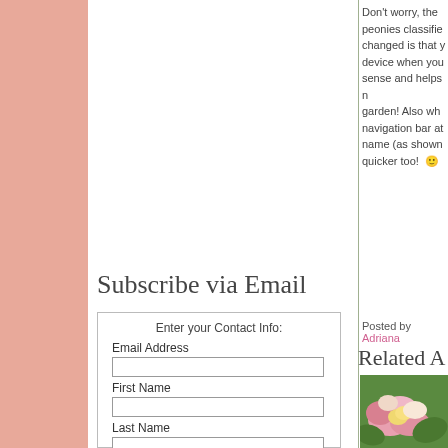Don't worry, the peonies classified changed is that y device when you sense and helps m garden! Also wh navigation bar at name (as shown quicker too! 🙂
Subscribe via Email
Enter your Contact Info:
Email Address
First Name
Last Name
Posted by Adriana
Related A…
[Figure (photo): Pink and yellow peony flowers]